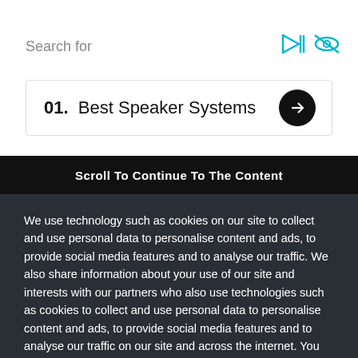Search for
01.  Best Speaker Systems
Scroll To Continue To The Content
We use technology such as cookies on our site to collect and use personal data to personalise content and ads, to provide social media features and to analyse our traffic. We also share information about your use of our site and interests with our partners who also use technologies such as cookies to collect and use personal data to personalise content and ads, to provide social media features and to analyse our traffic on our site and across the internet. You can always change your mind and revisit your choices.
Manage Options
I Accept